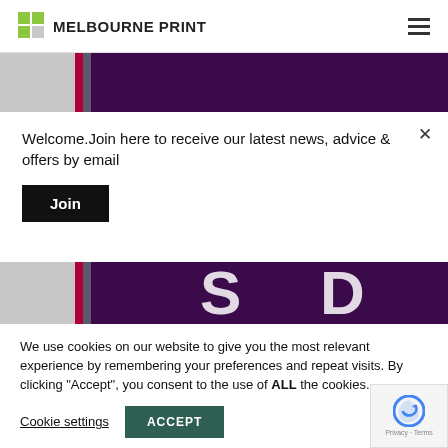MELBOURNE PRINT
[Figure (screenshot): Partial banner image showing dark purple background with grey and red vertical stripe elements on the left side]
Welcome.Join here to receive our latest news, advice & offers by email
Join
[Figure (screenshot): Partial banner image showing dark purple background with large white letters 'S' and 'D' visible, with grey and red vertical stripe on the left]
We use cookies on our website to give you the most relevant experience by remembering your preferences and repeat visits. By clicking “Accept”, you consent to the use of ALL the cookies.
Cookie settings
ACCEPT